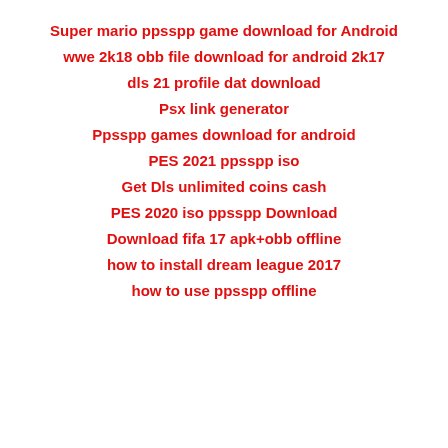Super mario ppsspp game download for Android
wwe 2k18 obb file download for android 2k17
dls 21 profile dat download
Psx link generator
Ppsspp games download for android
PES 2021 ppsspp iso
Get Dls unlimited coins cash
PES 2020 iso ppsspp Download
Download fifa 17 apk+obb offline
how to install dream league 2017
how to use ppsspp offline